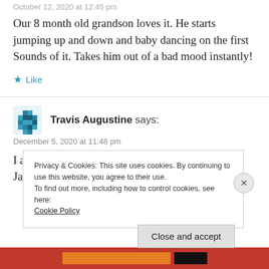October 12, 2020 at 12:45 pm
Our 8 month old grandson loves it. He starts jumping up and down and baby dancing on the first Sounds of it. Takes him out of a bad mood instantly!
★ Like
Travis Augustine says:
December 5, 2020 at 11:48 pm
I agree with you, Kyle. In my opinion, Alan Jackson's
Privacy & Cookies: This site uses cookies. By continuing to use this website, you agree to their use.
To find out more, including how to control cookies, see here: Cookie Policy
Close and accept